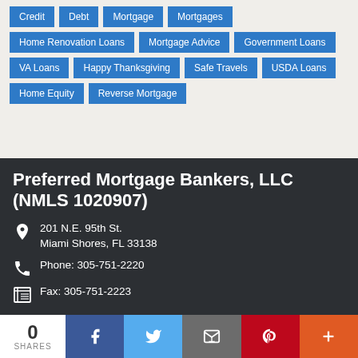Credit
Debt
Mortgage
Mortgages
Home Renovation Loans
Mortgage Advice
Government Loans
VA Loans
Happy Thanksgiving
Safe Travels
USDA Loans
Home Equity
Reverse Mortgage
Preferred Mortgage Bankers, LLC (NMLS 1020907)
201 N.E. 95th St. Miami Shores, FL 33138
Phone: 305-751-2220
Fax: 305-751-2223
0 SHARES